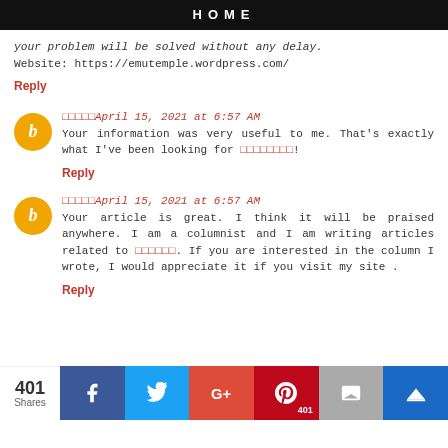HOME
your problem will be solved without any delay. Website: https://emutemple.wordpress.com/
Reply
□□□□□April 15, 2021 at 6:57 AM
Your information was very useful to me. That's exactly what I've been looking for □□□□□□□□!
Reply
□□□□□April 15, 2021 at 6:57 AM
Your article is great. I think it will be praised anywhere. I am a columnist and I am writing articles related to □□□□□□. If you are interested in the column I wrote, I would appreciate it if you visit my site .
Reply
401 Shares